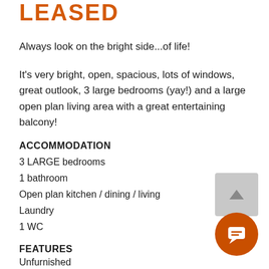LEASED
Always look on the bright side...of life!
It's very bright, open, spacious, lots of windows, great outlook, 3 large bedrooms (yay!) and a large open plan living area with a great entertaining balcony!
ACCOMMODATION
3 LARGE bedrooms
1 bathroom
Open plan kitchen / dining / living
Laundry
1 WC
FEATURES
Unfurnished
Open plan kitchen / dining / living area with sliding glass